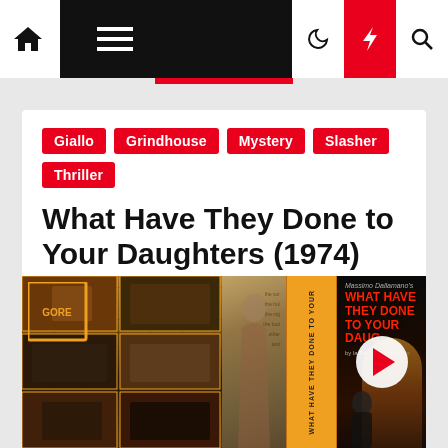Navigation bar with home icon, hamburger menu, dark mode, lightning, and search icons
Giallo
Grindhouse
Mystery
Slasher
Thriller
What Have They Done to Your Daughters (1974) watch online
MoCuishle  3 years ago
[Figure (photo): Movie collage image showing VHS cover and poster for 'What Have They Done to Your Daughters' (1974), with a play button overlay on the right side poster section showing a woman in yellow jacket]